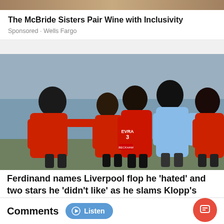The McBride Sisters Pair Wine with Inclusivity
Sponsored · Wells Fargo
[Figure (photo): Soccer players in red Manchester United jerseys surrounding a player in a light blue jersey in a confrontational scene. Players visible include one with 'EVRA 3' on their back.]
Ferdinand names Liverpool flop he 'hated' and two stars he 'didn't like' as he slams Klopp's side
Comments
Listen